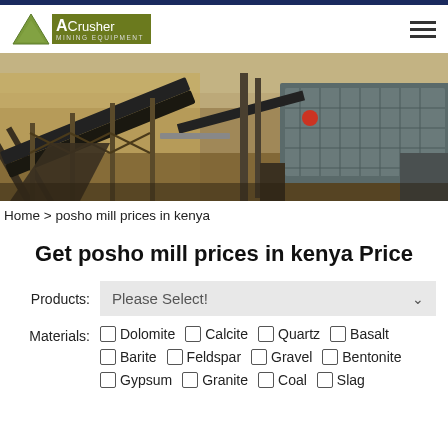[Figure (photo): Industrial mining/crushing equipment with conveyor belts and machinery at a quarry site]
Home > posho mill prices in kenya
Get posho mill prices in kenya Price
Products: Please Select!
Materials: Dolomite  Calcite  Quartz  Basalt  Barite  Feldspar  Gravel  Bentonite  Gypsum  Granite  Coal  Slag